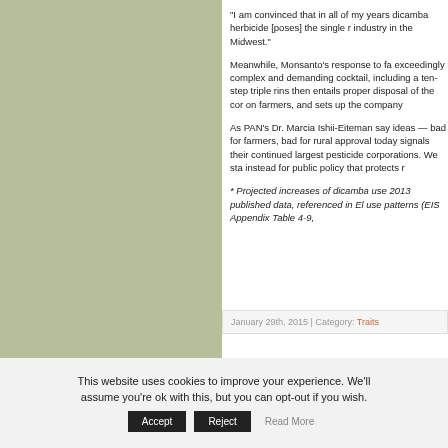[Figure (other): Solid sage/olive green rectangular panel on the left side of the page]
"I am convinced that in all of my years dicamba herbicide [poses] the single r industry in the Midwest."
Meanwhile, Monsanto’s response to fa exceedingly complex and demanding cocktail, including a ten-step triple rins then entails proper disposal of the cor on farmers, and sets up the company
As PAN’s Dr. Marcia Ishii-Eiteman say ideas — bad for farmers, bad for rural approval today signals their continued largest pesticide corporations. We sta instead for public policy that protects r
* Projected increases of dicamba use 2013 published data, referenced in El use patterns (EIS Appendix Table 4-9,
January 29th, 2015 | Category: Traits
This website uses cookies to improve your experience. We'll assume you're ok with this, but you can opt-out if you wish.
Accept | Reject | Read More